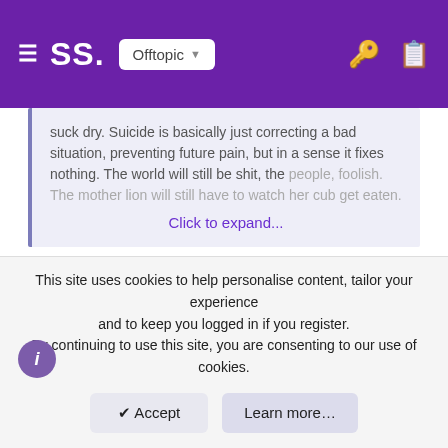SS. Offtopic
suck dry. Suicide is basically just correcting a bad situation, preventing future pain, but in a sense it fixes nothing. The world will still be shit, the people, foolish. The mother lion will still have to watch her cub get eaten. Click to expand...
Mmm hmmm. I'm with you there. Personally though, I see suicide as fixing the problem. As Anatoly Rybakov said, "Death solves all problems. No man, no problem." As far as the world is concerned, fuck it. Let it drown in its own shit. Fuck the environment & fuck civilization. I never asked to be here and the only way out is to either commit one of the hardest, most grueling acts imaginable or wait in excruciating anticipation for the reaper to get off his worthless, bony ass and come collect me. Like all others, my parents had me without a moment's consideration to the potential consequences. I was merely the "second
This site uses cookies to help personalise content, tailor your experience and to keep you logged in if you register. By continuing to use this site, you are consenting to our use of cookies.